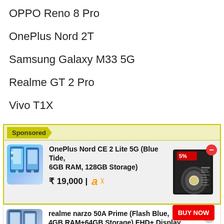OPPO Reno 8 Pro
OnePlus Nord 2T
Samsung Galaxy M33 5G
Realme GT 2 Pro
Vivo T1X
[Figure (infographic): Sponsored ad block with yellow border. Contains OnePlus Nord CE 2 Lite 5G phone listing with price ₹ 19,000 and Amazon logo, plus a smartwatch box image.]
[Figure (infographic): Second sponsored ad row for realme narzo 50A Prime (Flash Blue, 4GB RAM+64GB Storage) FHD+ Display with BUY NOW button.]